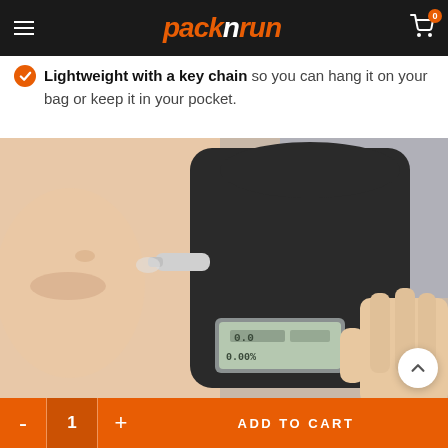packnrun — navigation header with cart
Lightweight with a key chain so you can hang it on your bag or keep it in your pocket.
[Figure (photo): Close-up photo of a person using a handheld breathalyzer device. The breathalyzer has a dark plastic body with an LCD display showing 0.0 and 0.00%, held in someone's hand while another person blows into the mouthpiece.]
ADD TO CART